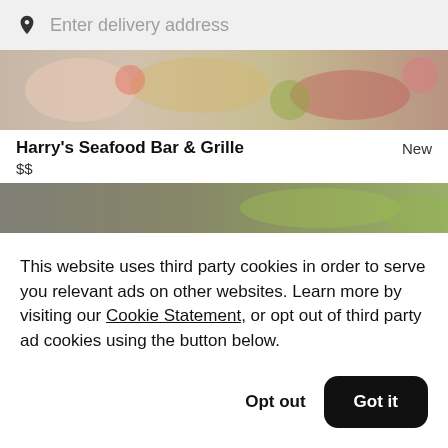Enter delivery address
[Figure (photo): Top banner photo of colorful food dishes with floral patterns]
Harry's Seafood Bar & Grille
$$
New
[Figure (photo): Partial banner photo of green and grey food items]
This website uses third party cookies in order to serve you relevant ads on other websites. Learn more by visiting our Cookie Statement, or opt out of third party ad cookies using the button below.
Opt out
Got it